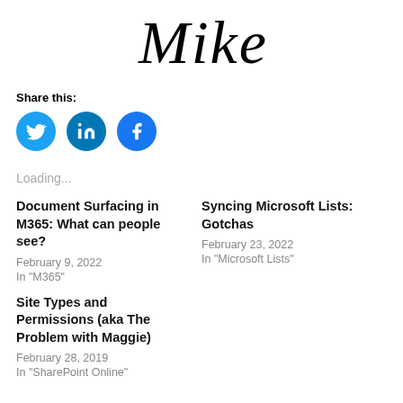[Figure (illustration): Handwritten cursive signature reading 'Mike' in black ink on white background]
Share this:
[Figure (infographic): Three circular social media share buttons: Twitter (blue bird icon), LinkedIn (blue 'in' icon), Facebook (blue 'f' icon)]
Loading...
Document Surfacing in M365: What can people see?
February 9, 2022
In "M365"
Syncing Microsoft Lists: Gotchas
February 23, 2022
In "Microsoft Lists"
Site Types and Permissions (aka The Problem with Maggie)
February 28, 2019
In "SharePoint Online"